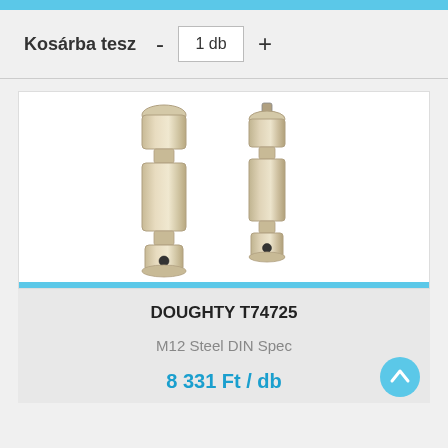Kosárba tesz  -  1 db  +
[Figure (photo): Two metallic M12 steel DIN spec cylindrical connectors/pins shown side by side, with stepped cylindrical bodies and a small hole near the bottom end.]
DOUGHTY T74725
M12 Steel DIN Spec
8 331 Ft / db